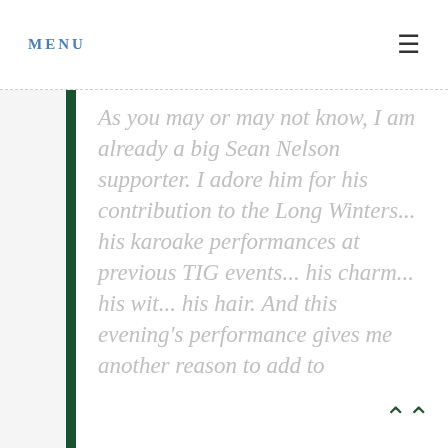MENU
As you may or may not know, I am already a big Sean Nelson supporter. I adore him for his contribution to the Long Winters... his karoake performances at previous TIG events... his charm... his wit... his hair. And this evening's performance gives me another reason to add to